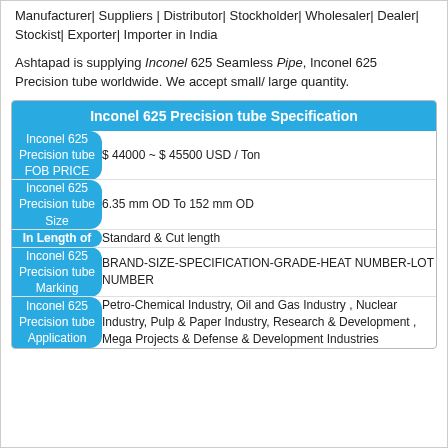Manufacturer| Suppliers | Distributor| Stockholder| Wholesaler| Dealer| Stockist| Exporter| Importer in India
Ashtapad is supplying Inconel 625 Seamless Pipe, Inconel 625 Precision tube worldwide. We accept small/ large quantity.
| Inconel 625 Precision tube Specification |
| --- |
| Inconel 625 Precision tube FOB PRICE | $ 44000 ~ $ 45500 USD / Ton |
| Inconel 625 Precision tube Size | 6.35 mm OD To 152 mm OD |
| In Length of | Standard & Cut length |
| Inconel 625 Precision tube Marking | BRAND-SIZE-SPECIFICATION-GRADE-HEAT NUMBER-LOT NUMBER |
| Inconel 625 Precision tube Application | Petro-Chemical Industry, Oil and Gas Industry , Nuclear Industry, Pulp & Paper Industry, Research & Development , Mega Projects & Defense & Development Industries |